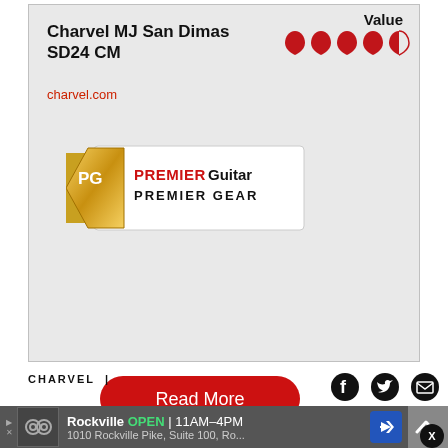Value
[Figure (illustration): Five guitar pick rating icons — four full red picks and one half-red half-outline pick]
Charvel MJ San Dimas SD24 CM
charvel.com
[Figure (logo): Premier Guitar Premier Gear award logo — gold guitar pick shape with PG initials and Premier Guitar / Premier Gear text on white banner]
Read More
[Figure (illustration): Social share icons: Facebook circle, Twitter bird, Email envelope]
CHARVEL  |
[Figure (illustration): Back to top arrow button (grey box with upward chevron)]
Rockville  OPEN  11AM–4PM  1010 Rockville Pike, Suite 100, Ro...